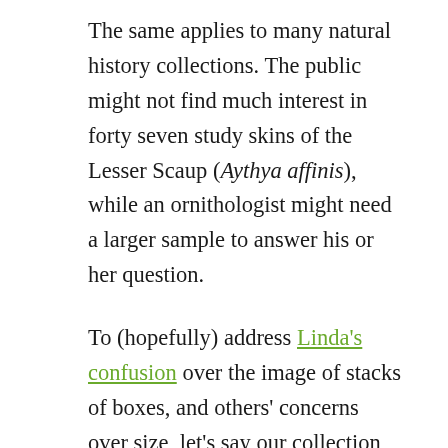The same applies to many natural history collections. The public might not find much interest in forty seven study skins of the Lesser Scaup (Aythya affinis), while an ornithologist might need a larger sample to answer his or her question.
To (hopefully) address Linda's confusion over the image of stacks of boxes, and others' concerns over size, let's say our collection of stuff comprises 200,000 archaeological objects. Of these, over half are going to be Ziplock bags and boxes full of stuff (soil, greebly bits, and otherwise undistinguished cultural remains like potsherds and the ammunition from my earlier example). Of the remaining objects that the